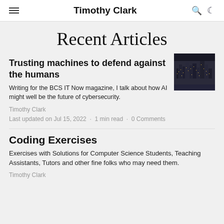Timothy Clark
Recent Articles
Trusting machines to defend against the humans
[Figure (photo): Aerial night photo of a dense city with glowing lights]
Writing for the BCS IT Now magazine, I talk about how AI might well be the future of cybersecurity.
Timothy Clark
Last updated on Jul 15, 2022 · 1 min read · 0 Comments
Coding Exercises
Exercises with Solutions for Computer Science Students, Teaching Assistants, Tutors and other fine folks who may need them.
Timothy Clark